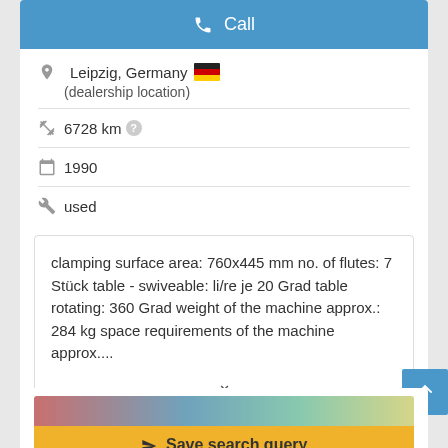Call
Leipzig, Germany (dealership location)
6728 km
1990
used
clamping surface area: 760x445 mm no. of flutes: 7 Stück table - swiveable: li/re je 20 Grad table rotating: 360 Grad weight of the machine approx.: 284 kg space requirements of the machine approx....
Save search query